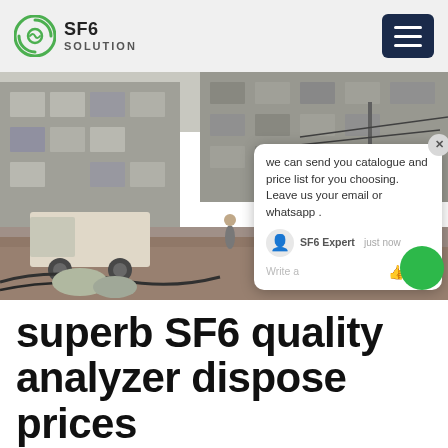SF6 SOLUTION
[Figure (photo): Street scene showing workers and a small truck in a courtyard area with multi-story residential/industrial buildings in the background. A chat popup overlay is visible on the right side of the image.]
superb SF6 quality analyzer dispose prices
PRODUCTS. SF6 gas leak detection series. SF6 gas quality Analyzer series. SF6 gas recycling series. SF6 gas monitoring series.